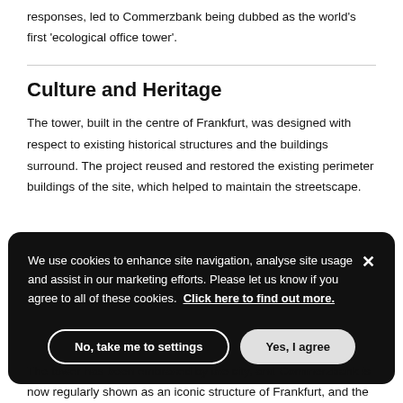responses, led to Commerzbank being dubbed as the world’s first ‘ecological office tower’.
Culture and Heritage
The tower, built in the centre of Frankfurt, was designed with respect to existing historical structures and the buildings surround. The project reused and restored the existing perimeter buildings of the site, which helped to maintain the streetscape.
We use cookies to enhance site navigation, analyse site usage and assist in our marketing efforts. Please let us know if you agree to all of these cookies. Click here to find out more.
The tower has been embraced by the city, and Commerzbank is now regularly shown as an iconic structure of Frankfurt, and the